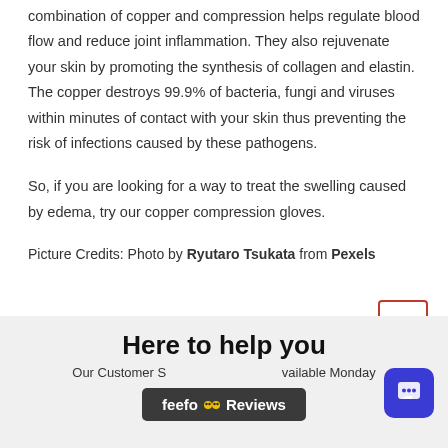combination of copper and compression helps regulate blood flow and reduce joint inflammation. They also rejuvenate your skin by promoting the synthesis of collagen and elastin. The copper destroys 99.9% of bacteria, fungi and viruses within minutes of contact with your skin thus preventing the risk of infections caused by these pathogens.
So, if you are looking for a way to treat the swelling caused by edema, try our copper compression gloves.
Picture Credits: Photo by Ryutaro Tsukata from Pexels
Here to help you
Our Customer S[ervice is] available Monday